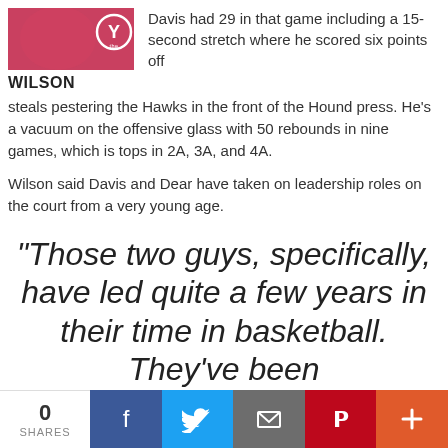[Figure (photo): Photo of Wilson wearing a pink/red YMCA polo shirt with YMCA logo visible]
WILSON
Davis had 29 in that game including a 15-second stretch where he scored six points off steals pestering the Hawks in the front of the Hound press. He's a vacuum on the offensive glass with 50 rebounds in nine games, which is tops in 2A, 3A, and 4A.
Wilson said Davis and Dear have taken on leadership roles on the court from a very young age.
"Those two guys, specifically, have led quite a few years in their time in basketball. They've been
0 SHARES | Facebook | Twitter | Email | Pinterest | Plus